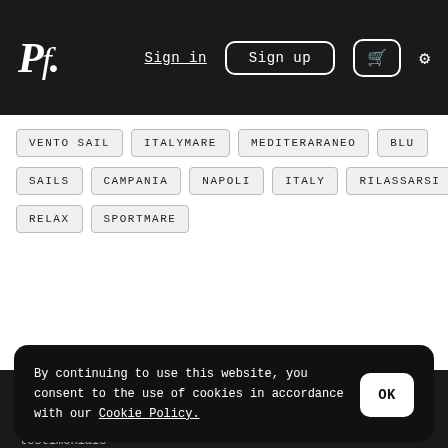Pf. | Sign in | Sign up | Cart | Settings
VENTO SAIL
ITALYMARE
MEDITERARANEO
BLU
SAILS
CAMPANIA
NAPOLI
ITALY
RILASSARSI
RELAX
SPORTMARE
Product
By continuing to use this website, you consent to the use of cookies in accordance with our Cookie Policy.
OK
testimonials